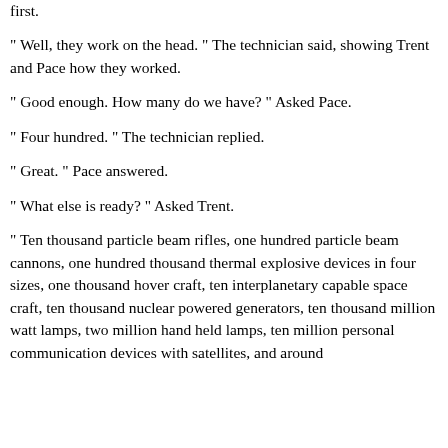first.
" Well, they work on the head. "  The technician said, showing Trent and Pace how they worked.
" Good enough.  How many do we have? "  Asked Pace.
" Four hundred. "  The technician replied.
" Great. "  Pace answered.
" What else is ready? "  Asked Trent.
" Ten thousand particle beam rifles, one hundred particle beam cannons, one hundred thousand thermal explosive devices in four sizes, one thousand hover craft, ten interplanetary capable space craft, ten thousand nuclear powered generators, ten thousand million watt lamps, two million hand held lamps, ten million personal communication devices with satellites, and around